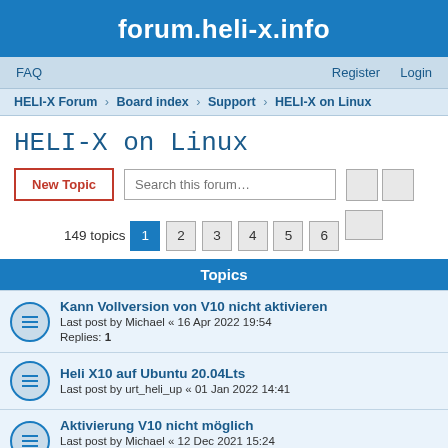forum.heli-x.info
FAQ  Register  Login
HELI-X Forum › Board index › Support › HELI-X on Linux
HELI-X on Linux
New Topic  Search this forum…
149 topics  1 2 3 4 5 6
Topics
Kann Vollversion von V10 nicht aktivieren
Last post by Michael « 16 Apr 2022 19:54
Replies: 1
Heli X10 auf Ubuntu 20.04Lts
Last post by urt_heli_up « 01 Jan 2022 14:41
Aktivierung V10 nicht möglich
Last post by Michael « 12 Dec 2021 15:24
Replies: 1
fatal exception has occurred. Program will exit
Last post by heli-max « 20 Mar 2021 11:34
Replies: 3
V9 kann bei mir kein Modell laden